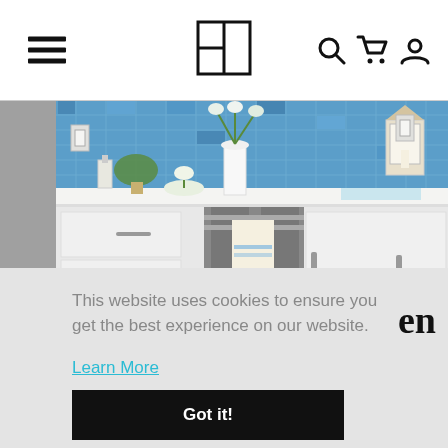Navigation header with hamburger menu, logo, search, cart, and profile icons
[Figure (photo): Kitchen with blue tile backsplash, white cabinets, gray dishwasher with a hanging towel, white countertop with flowers and decorative items]
This website uses cookies to ensure you get the best experience on our website.
Learn More
en
Got it!
By Kali